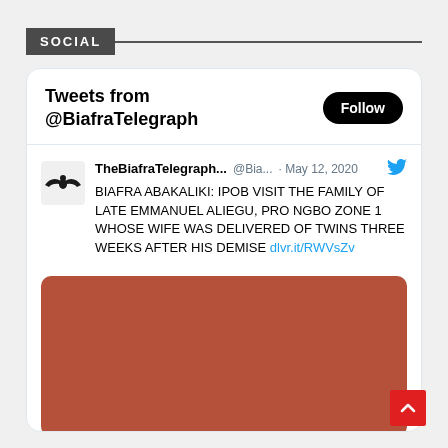SOCIAL
Tweets from @BiafraTelegraph
TheBiafraTelegraph @Bia... · May 12, 2020
BIAFRA ABAKALIKI: IPOB VISIT THE FAMILY OF LATE EMMANUEL ALIEGU, PRO NGBO ZONE 1 WHOSE WIFE WAS DELIVERED OF TWINS THREE WEEKS AFTER HIS DEMISE dlvr.it/RWVsZv
[Figure (photo): Brownish-red colored image placeholder at bottom of tweet card]